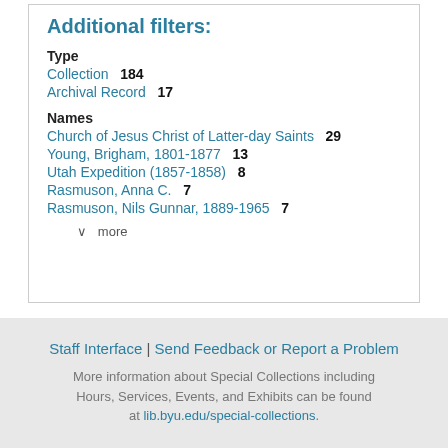Additional filters:
Type
Collection   184
Archival Record   17
Names
Church of Jesus Christ of Latter-day Saints   29
Young, Brigham, 1801-1877   13
Utah Expedition (1857-1858)   8
Rasmuson, Anna C.   7
Rasmuson, Nils Gunnar, 1889-1965   7
v  more
Staff Interface | Send Feedback or Report a Problem
More information about Special Collections including Hours, Services, Events, and Exhibits can be found at lib.byu.edu/special-collections.